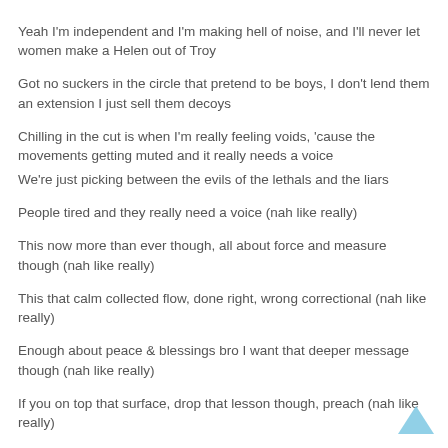Yeah I'm independent and I'm making hell of noise, and I'll never let women make a Helen out of Troy
Got no suckers in the circle that pretend to be boys, I don't lend them an extension I just sell them decoys
Chilling in the cut is when I'm really feeling voids, 'cause the movements getting muted and it really needs a voice
We're just picking between the evils of the lethals and the liars
People tired and they really need a voice (nah like really)
This now more than ever though, all about force and measure though (nah like really)
This that calm collected flow, done right, wrong correctional (nah like really)
Enough about peace & blessings bro I want that deeper message though (nah like really)
If you on top that surface, drop that lesson though, preach (nah like really)